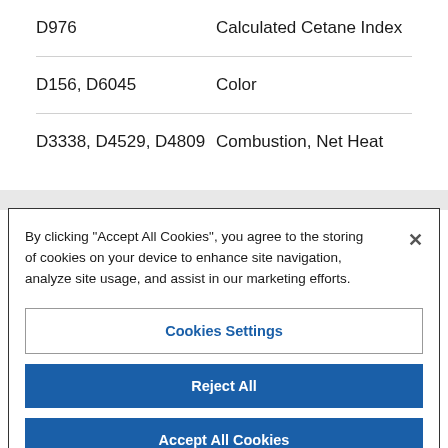D976    Calculated Cetane Index
D156, D6045    Color
D3338, D4529, D4809    Combustion, Net Heat
By clicking “Accept All Cookies”, you agree to the storing of cookies on your device to enhance site navigation, analyze site usage, and assist in our marketing efforts.
Cookies Settings
Reject All
Accept All Cookies